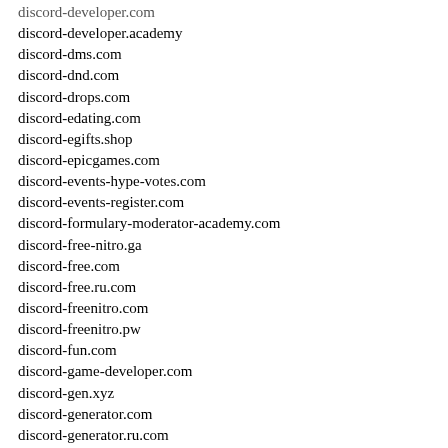discord-developer.com
discord-developer.academy
discord-dms.com
discord-dnd.com
discord-drops.com
discord-edating.com
discord-egifts.shop
discord-epicgames.com
discord-events-hype-votes.com
discord-events-register.com
discord-formulary-moderator-academy.com
discord-free-nitro.ga
discord-free.com
discord-free.ru.com
discord-freenitro.com
discord-freenitro.pw
discord-fun.com
discord-game-developer.com
discord-gen.xyz
discord-generator.com
discord-generator.ru.com
discord-generator.xyz
discord-get.xyz
discord-gg.ru.com
discord-gift.com
discord-gift.net